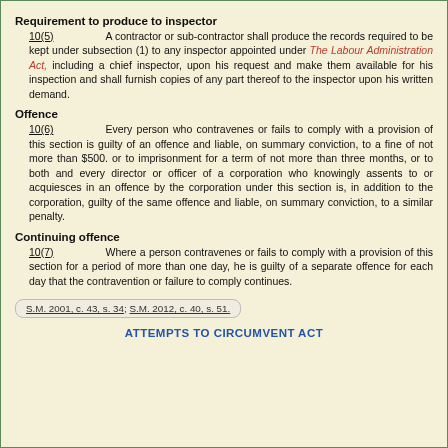Requirement to produce to inspector
10(5)       A contractor or sub-contractor shall produce the records required to be kept under subsection (1) to any inspector appointed under The Labour Administration Act, including a chief inspector, upon his request and make them available for his inspection and shall furnish copies of any part thereof to the inspector upon his written demand.
Offence
10(6)       Every person who contravenes or fails to comply with a provision of this section is guilty of an offence and liable, on summary conviction, to a fine of not more than $500. or to imprisonment for a term of not more than three months, or to both and every director or officer of a corporation who knowingly assents to or acquiesces in an offence by the corporation under this section is, in addition to the corporation, guilty of the same offence and liable, on summary conviction, to a similar penalty.
Continuing offence
10(7)       Where a person contravenes or fails to comply with a provision of this section for a period of more than one day, he is guilty of a separate offence for each day that the contravention or failure to comply continues.
S.M. 2001, c. 43, s. 34; S.M. 2012, c. 40, s. 51.
ATTEMPTS TO CIRCUMVENT ACT